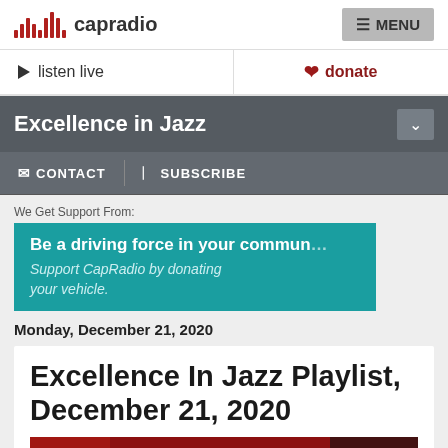capradio | MENU
listen live   donate
Excellence in Jazz
CONTACT   SUBSCRIBE
We Get Support From:
Be a driving force in your commun
Support CapRadio by donating your vehicle.
Monday, December 21, 2020
Excellence In Jazz Playlist, December 21, 2020